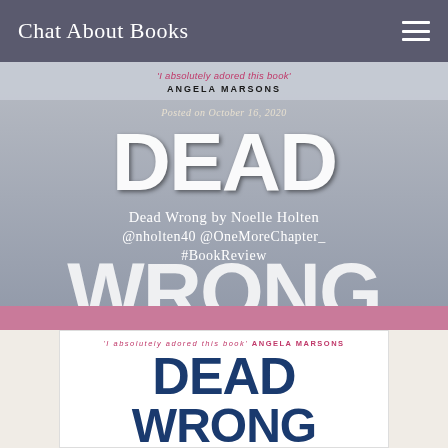Chat About Books
[Figure (illustration): Hero banner showing the cover of 'Dead Wrong' by Noelle Holten. Top quote: ''I absolutely adored this book' ANGELA MARSONS'. Posted on October 16, 2020. Title overlay: 'Dead Wrong by Noelle Holten @nholten40 @OneMoreChapter_ #BookReview'. Large stylized text 'DEAD WRONG' in dark blue on grey background.]
[Figure (illustration): Book cover of 'Dead Wrong' by Noelle Holten. Quote at top: ''I absolutely adored this book' ANGELA MARSONS'. Large bold dark blue text reading 'DEAD' and 'WRONG'.]